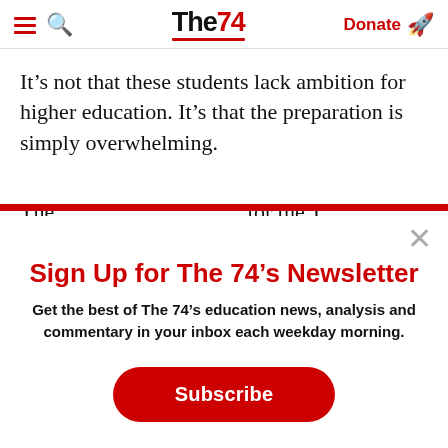The74 — Donate
It’s not that these students lack ambition for higher education. It’s that the preparation is simply overwhelming.
Sign Up for The 74’s Newsletter
Get the best of The 74’s education news, analysis and commentary in your inbox each weekday morning.
Subscribe